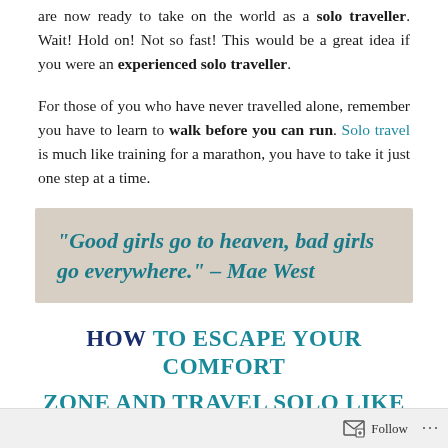are now ready to take on the world as a solo traveller. Wait! Hold on! Not so fast! This would be a great idea if you were an experienced solo traveller.
For those of you who have never travelled alone, remember you have to learn to walk before you can run. Solo travel is much like training for a marathon, you have to take it just one step at a time.
“Good girls go to heaven, bad girls go everywhere.” – Mae West
HOW TO ESCAPE YOUR COMFORT
ZONE AND TRAVEL SOLO LIKE A
Follow